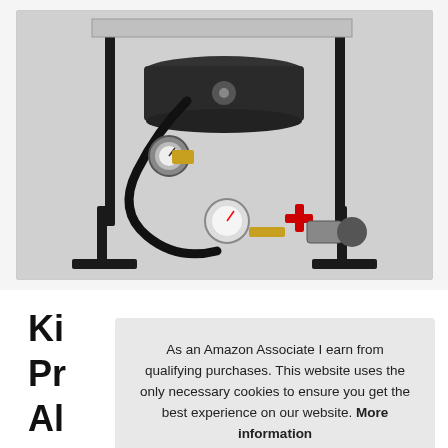[Figure (photo): Product photo of a propane burner cooker on a black metal stand with hose, regulator, thermometer gauge, and valve accessories laid out in front]
Ki Pr Al
As an Amazon Associate I earn from qualifying purchases. This website uses the only necessary cookies to ensure you get the best experience on our website. More information